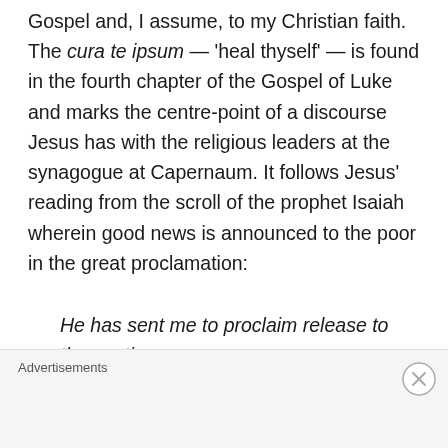Gospel and, I assume, to my Christian faith. The cura te ipsum — 'heal thyself' — is found in the fourth chapter of the Gospel of Luke and marks the centre-point of a discourse Jesus has with the religious leaders at the synagogue at Capernaum. It follows Jesus' reading from the scroll of the prophet Isaiah wherein good news is announced to the poor in the great proclamation:
He has sent me to proclaim release to the captives
Advertisements